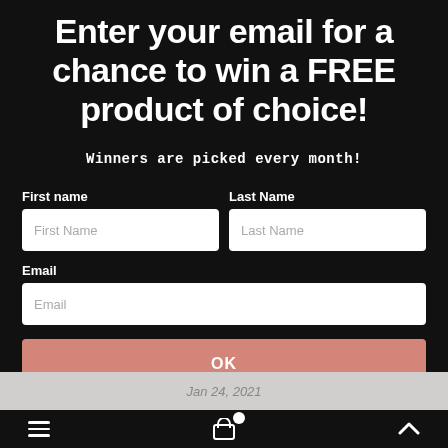Enter your email for a chance to win a FREE product of choice!
Winners are picked every month!
First name
Last Name
Email
OK